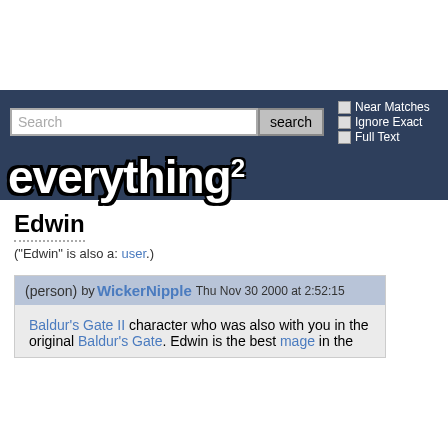[Figure (screenshot): Everything2 website header with search bar and logo]
Edwin
("Edwin" is also a: user.)
(person) by WickerNipple Thu Nov 30 2000 at 2:52:15
Baldur's Gate II character who was also with you in the original Baldur's Gate. Edwin is the best mage in the